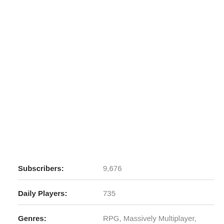Subscribers: 9,676
Daily Players: 735
Genres: RPG, Massively Multiplayer, Indie